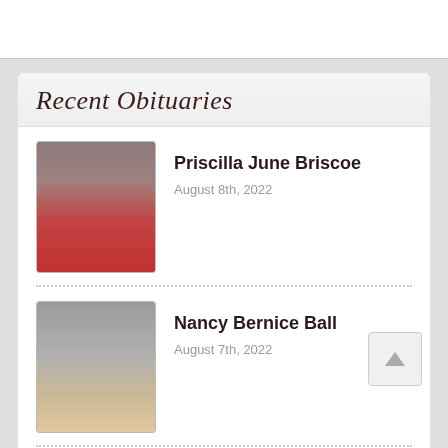Recent Obituaries
Priscilla June Briscoe — August 8th, 2022
Nancy Bernice Ball — August 7th, 2022
Frank L. Braman, Jr. — August 7th, 2022
View All Obituaries >